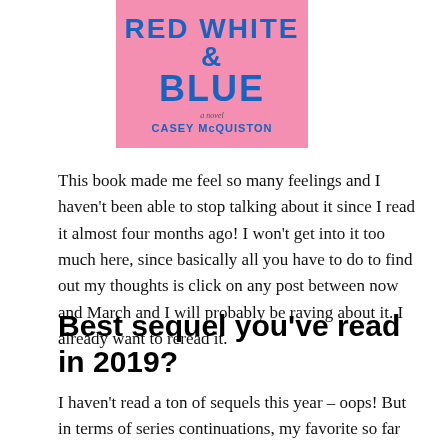[Figure (illustration): Book cover of 'Red White & Royal Blue' by Casey McQuiston. Pink background with two illustrated figures and bold blue title text reading 'RED WHITE BLUE' and author name 'CASEY MCQUISTON'.]
This book made me feel so many feelings and I haven't been able to stop talking about it since I read it almost four months ago! I won't get into it too much here, since basically all you have to do to find out my thoughts is click on any post between now and March and I will probably be raving about it. I already want to reread it.
Best sequel you've read in 2019?
I haven't read a ton of sequels this year – oops! But in terms of series continuations, my favorite so far is…